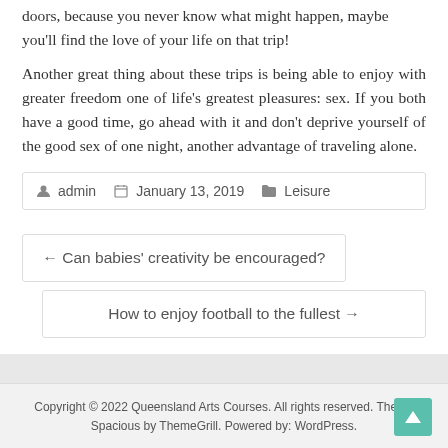doors, because you never know what might happen, maybe you'll find the love of your life on that trip!
Another great thing about these trips is being able to enjoy with greater freedom one of life's greatest pleasures: sex. If you both have a good time, go ahead with it and don't deprive yourself of the good sex of one night, another advantage of traveling alone.
admin  January 13, 2019  Leisure
← Can babies' creativity be encouraged?
How to enjoy football to the fullest →
Copyright © 2022 Queensland Arts Courses. All rights reserved. Theme Spacious by ThemeGrill. Powered by: WordPress.